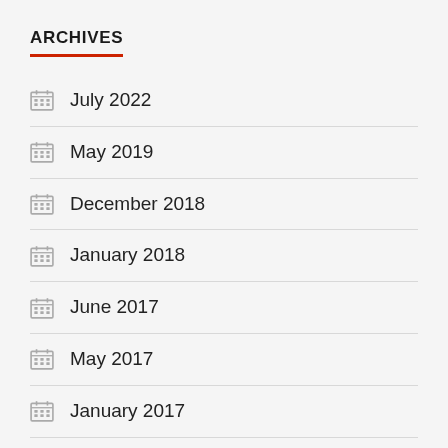ARCHIVES
July 2022
May 2019
December 2018
January 2018
June 2017
May 2017
January 2017
December 2016